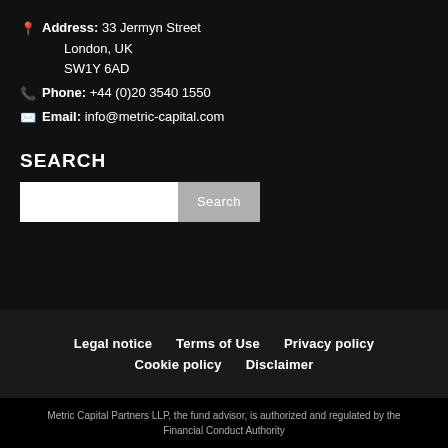Address: 33 Jermyn Street
London, UK
SW1Y 6AD
Phone: +44 (0)20 3540 1550
Email: info@metric-capital.com
SEARCH
Search
Legal notice   Terms of Use   Privacy policy   Cookie policy   Disclaimer
Metric Capital Partners LLP, the fund advisor, is authorized and regulated by the Financial Conduct Authority